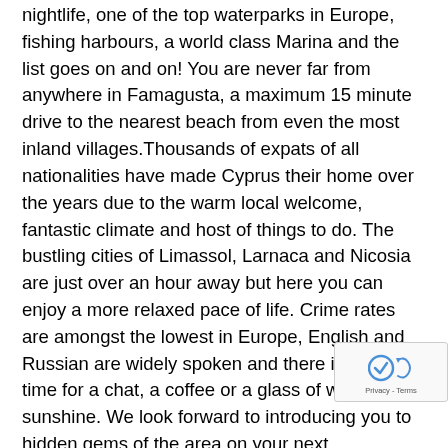nightlife, one of the top waterparks in Europe, fishing harbours, a world class Marina and the list goes on and on! You are never far from anywhere in Famagusta, a maximum 15 minute drive to the nearest beach from even the most inland villages.Thousands of expats of all nationalities have made Cyprus their home over the years due to the warm local welcome, fantastic climate and host of things to do. The bustling cities of Limassol, Larnaca and Nicosia are just over an hour away but here you can enjoy a more relaxed pace of life. Crime rates are amongst the lowest in Europe, English and Russian are widely spoken and there is always time for a chat, a coffee or a glass of wine in the sunshine. We look forward to introducing you to hidden gems of the area on your next visit.ISLAND HOMES ESTATE AGENTSIsland Homes have been working with both local and over buyers and sellers for over 20 years. We specialise property sales in the Famagusta region with seasic properties from Protaras to Ayia Napa; major towns
[Figure (logo): reCAPTCHA logo badge with Privacy - Terms text]